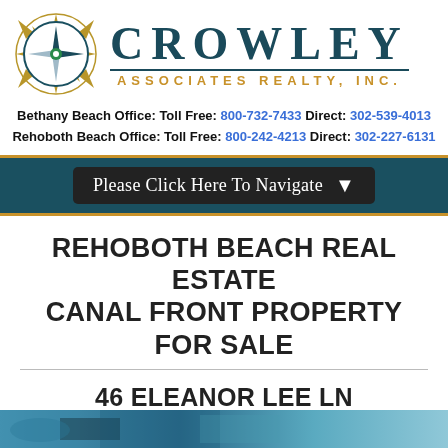[Figure (logo): Crowley Associates Realty Inc. logo with compass rose and text]
Bethany Beach Office: Toll Free: 800-732-7433 Direct: 302-539-4013
Rehoboth Beach Office: Toll Free: 800-242-4213 Direct: 302-227-6131
Please Click Here To Navigate
REHOBOTH BEACH REAL ESTATE CANAL FRONT PROPERTY FOR SALE
46 ELEANOR LEE LN REHOBOTH BEACH DELAWARE CANAL FRONT
[Figure (photo): Partial photo visible at bottom of page, appears to be a waterfront/canal property photo]